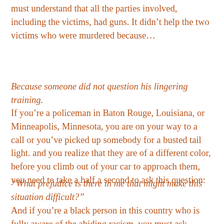must understand that all the parties involved, including the victims, had guns. It didn't help the two victims who were murdered because…
Because someone did not question his lingering training.
If you're a policeman in Baton Rouge, Louisiana, or Minneapolis, Minnesota, you are on your way to a call or you've picked up somebody for a busted tail light. and you realize that they are of a different color, before you climb out of your car to approach them, you need to take a half a second to ask this question:
“What prejudice is there in me that might make this situation difficult?”
And if you’re a black person in this country who is fully aware of the abiding racism, you must ask yourself: